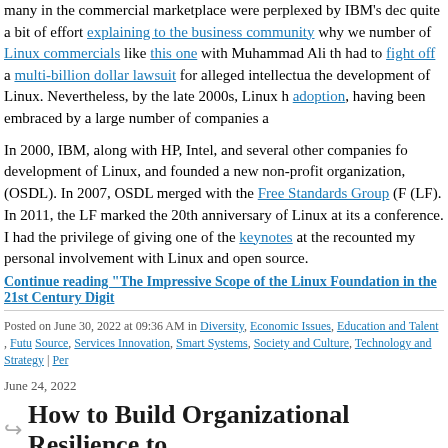many in the commercial marketplace were perplexed by IBM's decision. It took quite a bit of effort explaining to the business community why we produced a number of Linux commercials like this one with Muhammad Ali that IBM had to fight off a multi-billion dollar lawsuit for alleged intellectual property in the development of Linux. Nevertheless, by the late 2000s, Linux had seen major adoption, having been embraced by a large number of companies and...
In 2000, IBM, along with HP, Intel, and several other companies focused on the development of Linux, and founded a new non-profit organization, (OSDL). In 2007, OSDL merged with the Free Standards Group (F... (LF). In 2011, the LF marked the 20th anniversary of Linux at its annual conference. I had the privilege of giving one of the keynotes at the event and recounted my personal involvement with Linux and open source.
Continue reading "The Impressive Scope of the Linux Foundation in the 21st Century Digit...
Posted on June 30, 2022 at 09:36 AM in Diversity, Economic Issues, Education and Talent, Future..., Open Source, Services Innovation, Smart Systems, Society and Culture, Technology and Strategy | Perm...
June 24, 2022
How to Build Organizational Resilience to...
I became quite interested in cybersecurity around a year ago, given the rise of criminal groups and adversarial governments. I then joined CAMS... consortium and started attending its online weekly seminars. A few... cyber resilience by Manuel Hopfer, a research affiliate at Oxford...